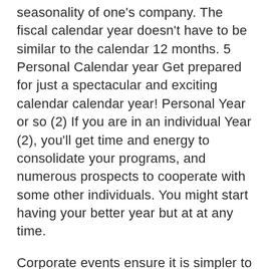seasonality of one's company. The fiscal calendar year doesn't have to be similar to the calendar 12 months. 5 Personal Calendar year Get prepared for just a spectacular and exciting calendar calendar year! Personal Year or so (2) If you are in an individual Year (2), you'll get time and energy to consolidate your programs, and numerous prospects to cooperate with some other individuals. You might start having your better year but at at any time.
Corporate events ensure it is simpler to defeat such hurdles. They're a terrific way to encourage employee proposal. Most corporate situations are sorted out towards the final outcome with the calendar calendar year or the personal calendar year